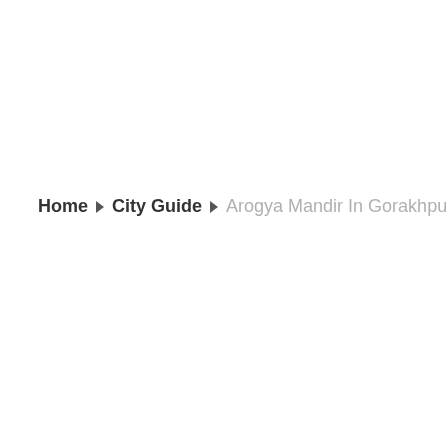Home ▶ City Guide ▶ Arogya Mandir In Gorakhpur